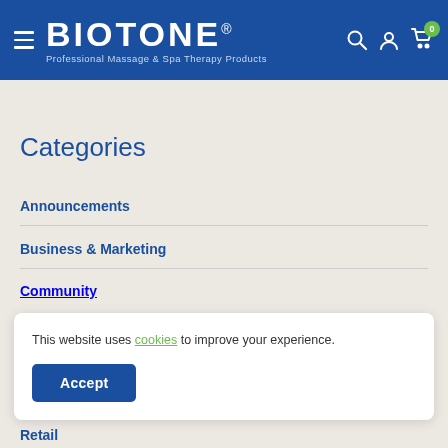BIOTONE® - Professional Massage & Spa Therapy Products
Categories
Announcements
Business & Marketing
Community
This website uses cookies to improve your experience.
Retail